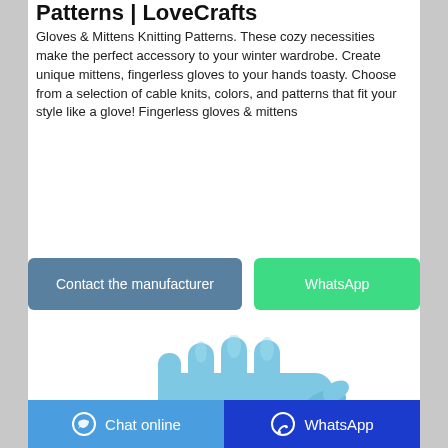Patterns | LoveCrafts
Gloves & Mittens Knitting Patterns. These cozy necessities make the perfect accessory to your winter wardrobe. Create unique mittens, fingerless gloves to your hands toasty. Choose from a selection of cable knits, colors, and patterns that fit your style like a glove! Fingerless gloves & mittens
[Figure (illustration): Blue latex/nitrile glove illustration, open hand with fingers spread, light blue color]
Chat online  |  WhatsApp